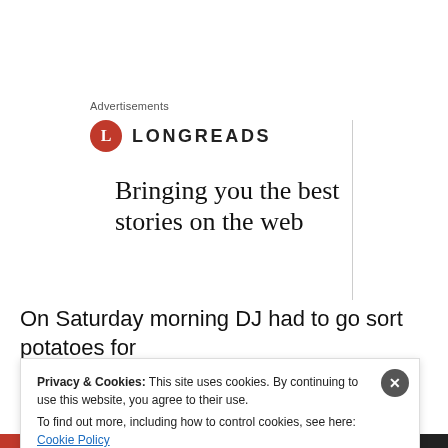Advertisements
[Figure (logo): Longreads logo — red circle with white L, followed by LONGREADS in bold caps]
Bringing you the best stories on the web
On Saturday morning DJ had to go sort potatoes for community service hours for a club she's in, so Stephanie
Privacy & Cookies: This site uses cookies. By continuing to use this website, you agree to their use.
To find out more, including how to control cookies, see here: Cookie Policy
Close and accept